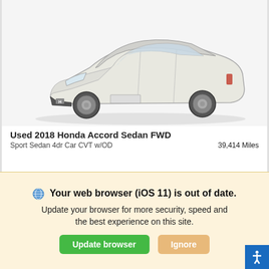[Figure (photo): White Honda Accord Sedan viewed from front-right three-quarter angle on white/light grey background]
Used 2018 Honda Accord Sedan FWD
Sport Sedan 4dr Car CVT w/OD    39,414 Miles
| Retail Price | Sale Price |
| --- | --- |
| $28,788 | $25,988 |
Your web browser (iOS 11) is out of date. Update your browser for more security, speed and the best experience on this site.
Update browser   Ignore